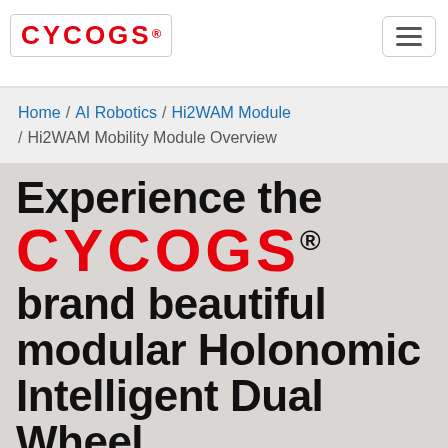[Figure (logo): CYCOGS® logo in red bold text inside a bordered box, top left of white header bar]
[Figure (other): Hamburger menu icon (three horizontal lines) inside a bordered rounded rectangle, top right of white header bar]
Home / AI Robotics / Hi2WAM Module / Hi2WAM Mobility Module Overview
Experience the CYCOGS® brand beautiful modular Holonomic Intelligent Dual Wheel